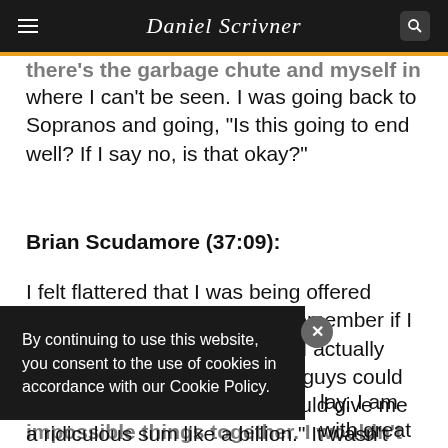Daniel Scrivner
there's the garbage chute and myself in a little boat where I can't be seen. I was going back to Sopranos and going, "Is this going to end well? If I say no, is that okay?"
Brian Scudamore (37:09):
I felt flattered that I was being offered money, but I actually, I can't remember if I told the story in the book, but I actually turned around and said, "You guys could give me 10 times that. You could give me a ridiculous sum like a billion." It wasn't like I was looking for more money, ...lay. I am ...with great ...tter. And ...ese impossible things together. I wouldn't have sold that for
By continuing to use this website, you consent to the use of cookies in accordance with our Cookie Policy.